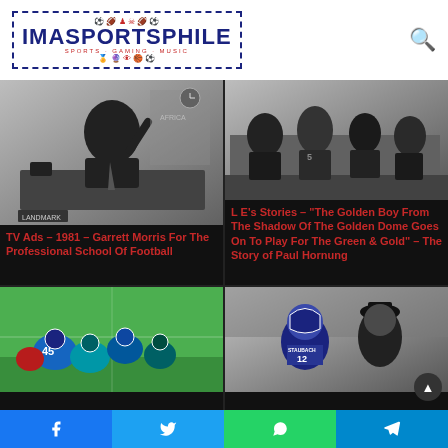[Figure (logo): IMASPORTSPHILE logo with sports icons, dashed border, red and blue color scheme]
[Figure (photo): Black and white photo of Garrett Morris sitting at a desk pointing finger, vintage TV scene]
TV Ads – 1981 – Garrett Morris For The Professional School Of Football
[Figure (photo): Black and white photo of football players in a line of scrimmage action shot]
L E's Stories – "The Golden Boy From The Shadow Of The Golden Dome Goes On To Play For The Green & Gold" – The Story of Paul Hornung
[Figure (photo): Color photo of football players on field, number 45 visible]
[Figure (photo): Color photo of Roger Staubach with coach, Staubach jersey number 12 visible]